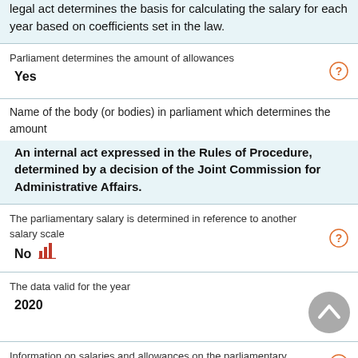in the institutions of Bosnia and Herzegovina. A sub legal act determines the basis for calculating the salary for each year based on coefficients set in the law.
Parliament determines the amount of allowances
Yes
Name of the body (or bodies) in parliament which determines the amount
An internal act expressed in the Rules of Procedure, determined by a decision of the Joint Commission for Administrative Affairs.
The parliamentary salary is determined in reference to another salary scale
No
The data valid for the year
2020
Information on salaries and allowances on the parliamentary website